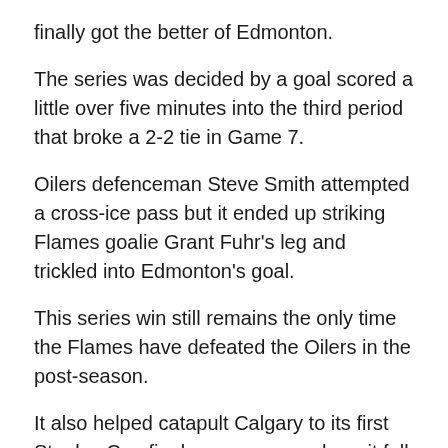finally got the better of Edmonton.
The series was decided by a goal scored a little over five minutes into the third period that broke a 2-2 tie in Game 7.
Oilers defenceman Steve Smith attempted a cross-ice pass but it ended up striking Flames goalie Grant Fuhr's leg and trickled into Edmonton's goal.
This series win still remains the only time the Flames have defeated the Oilers in the post-season.
It also helped catapult Calgary to its first Stanley Cup final appearance, where it fell to the Montreal Canadiens in five games.
1988: OILERS WON 4-0
The most dominant Oilers victory of the four they've